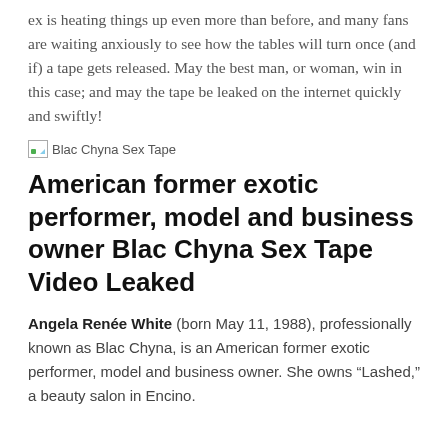ex is heating things up even more than before, and many fans are waiting anxiously to see how the tables will turn once (and if) a tape gets released. May the best man, or woman, win in this case; and may the tape be leaked on the internet quickly and swiftly!
[Figure (other): Broken image placeholder labeled 'Blac Chyna Sex Tape']
American former exotic performer, model and business owner Blac Chyna Sex Tape Video Leaked
Angela Renée White (born May 11, 1988), professionally known as Blac Chyna, is an American former exotic performer, model and business owner. She owns “Lashed,” a beauty salon in Encino.